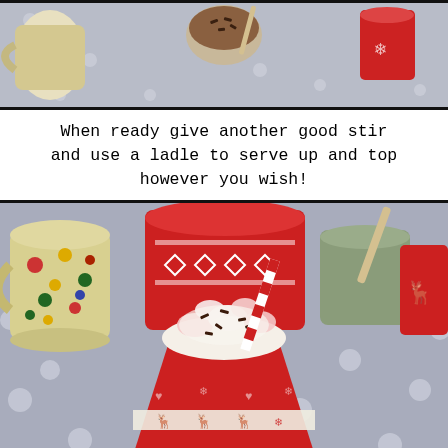[Figure (photo): Top-down view of a polka-dot blue-grey table surface with mugs, a small bowl of chocolate sprinkles, and cups arranged around.]
When ready give another good stir and use a ladle to serve up and top however you wish!
[Figure (photo): A red Christmas-themed cup filled with hot chocolate topped with whipped cream, marshmallows, chocolate sprinkles, and a red-and-white striped candy cane straw. Mugs with polka dots and Christmas patterns are visible in the background on a blue-grey polka-dot tablecloth.]